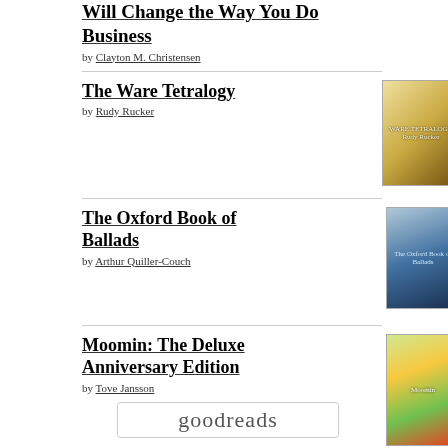Will Change the Way You Do Business
by Clayton M. Christensen
The Ware Tetralogy
by Rudy Rucker
[Figure (photo): Book cover of The Ware Tetralogy by Rudy Rucker]
The Oxford Book of Ballads
by Arthur Quiller-Couch
[Figure (photo): Book cover of The Oxford Book of Ballads by Arthur Quiller-Couch]
Moomin: The Deluxe Anniversary Edition
by Tove Jansson
[Figure (photo): Book cover of Moomin: The Deluxe Anniversary Edition by Tove Jansson]
The Old U(VA) and I: 1961-1965
by Frank Briggs
[Figure (photo): Book cover of The Old U(VA) and I: 1961-1965 by Frank Briggs]
goodreads